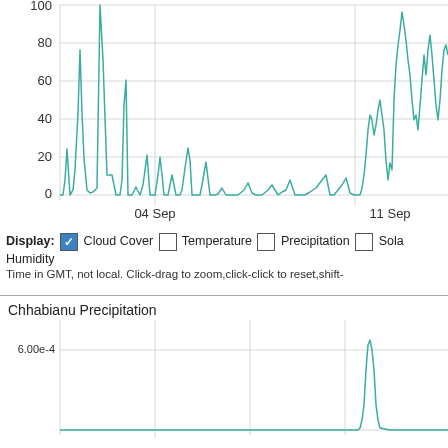[Figure (continuous-plot): Cloud cover time series chart showing values from 0 to 100 over late August to mid-September, with peaks near 100 around Sep 1, around 50 near Sep 4, and large peaks near 90-100 after Sep 11.]
Display: ✓ Cloud Cover □ Temperature □ Precipitation □ Solar Humidity
Time in GMT, not local. Click-drag to zoom,click-click to reset,shift-
[Figure (continuous-plot): Chhabianu Precipitation time series chart, y-axis labeled 6.00e-4, showing near-zero values for most of the period with a sharp spike near Sep 11.]
Chhabianu Precipitation